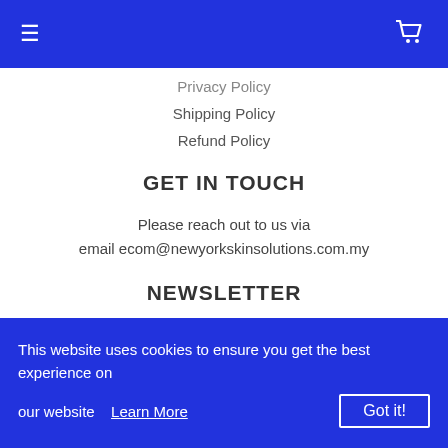Navigation bar with hamburger menu and cart icon
Privacy Policy
Shipping Policy
Refund Policy
GET IN TOUCH
Please reach out to us via email ecom@newyorkskinsolutions.com.my
NEWSLETTER
Promotions, new products and sales. Directly to your inbox.
This website uses cookies to ensure you get the best experience on our website  Learn More  Got it!